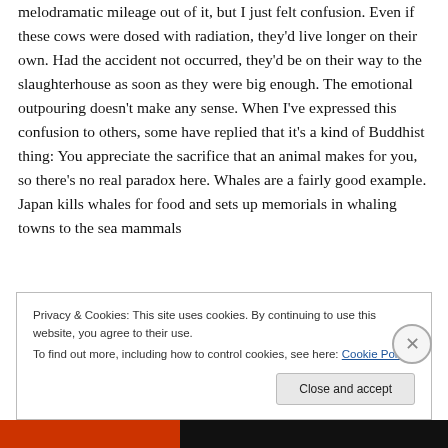melodramatic mileage out of it, but I just felt confusion. Even if these cows were dosed with radiation, they'd live longer on their own. Had the accident not occurred, they'd be on their way to the slaughterhouse as soon as they were big enough. The emotional outpouring doesn't make any sense. When I've expressed this confusion to others, some have replied that it's a kind of Buddhist thing: You appreciate the sacrifice that an animal makes for you, so there's no real paradox here. Whales are a fairly good example. Japan kills whales for food and sets up memorials in whaling towns to the sea mammals
Privacy & Cookies: This site uses cookies. By continuing to use this website, you agree to their use.
To find out more, including how to control cookies, see here: Cookie Policy
Close and accept